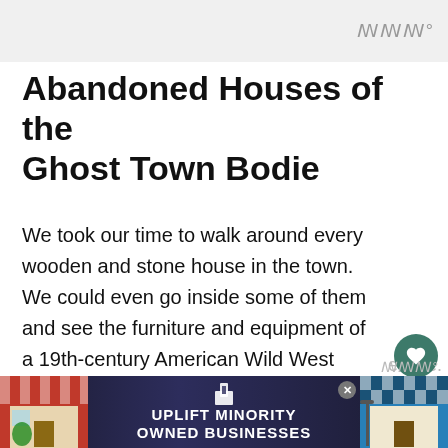Abandoned Houses of the Ghost Town Bodie
We took our time to walk around every wooden and stone house in the town. We could even go inside some of them and see the furniture and equipment of a 19th-century American Wild West house. Although the whole area of Bodie State Historic Park is protected and nothing is allowed to be removed or collected, you are allowed as many photos as you want and to collect some unique memories for a lifetime. Glad we took the time, close...a busy
[Figure (infographic): UPLIFT MINORITY OWNED BUSINESSES advertisement banner overlay at bottom of page]
WHAT'S NEXT → Castro Street Fair: Photos...